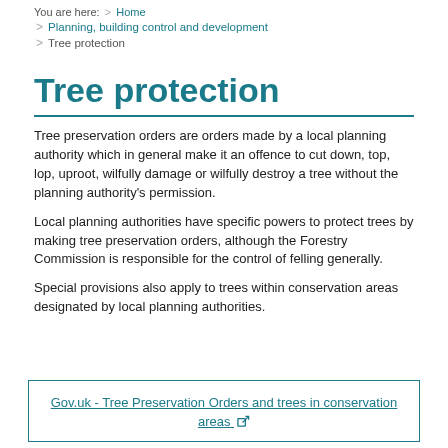You are here: > Home > Planning, building control and development > Tree protection
Tree protection
Tree preservation orders are orders made by a local planning authority which in general make it an offence to cut down, top, lop, uproot, wilfully damage or wilfully destroy a tree without the planning authority's permission.
Local planning authorities have specific powers to protect trees by making tree preservation orders, although the Forestry Commission is responsible for the control of felling generally.
Special provisions also apply to trees within conservation areas designated by local planning authorities.
Gov.uk - Tree Preservation Orders and trees in conservation areas